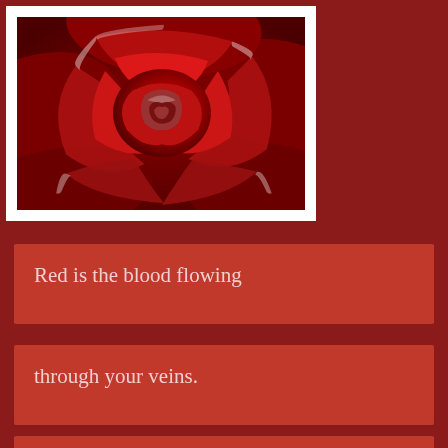[Figure (photo): Close-up photograph of a deep red rose with white-edged petals, showing detailed texture and swirling petal layers. The photo has a white border/frame around it.]
Red is the blood flowing
through your veins.
Red is the sun's last ray